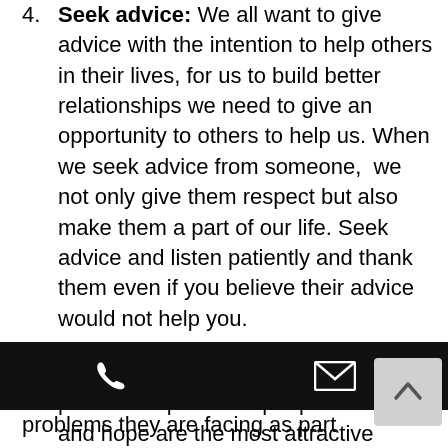Seek advice: We all want to give advice with the intention to help others in their lives, for us to build better relationships we need to give an opportunity to others to help us. When we seek advice from someone,  we not only give them respect but also make them a part of our life. Seek advice and listen patiently and thank them even if you believe their advice would not help you.
Talk positively: negativity is the most powerful repellant of people. Positivity and hope are the most attractive aspects of a...
problems they are facing as part